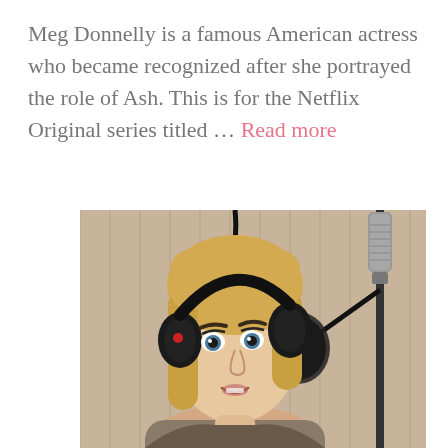Meg Donnelly is a famous American actress who became recognized after she portrayed the role of Ash. This is for the Netflix Original series titled … Read more
[Figure (photo): Young blonde woman wearing black headphones, singing or speaking into a studio microphone with a pop filter, in a recording studio setting]